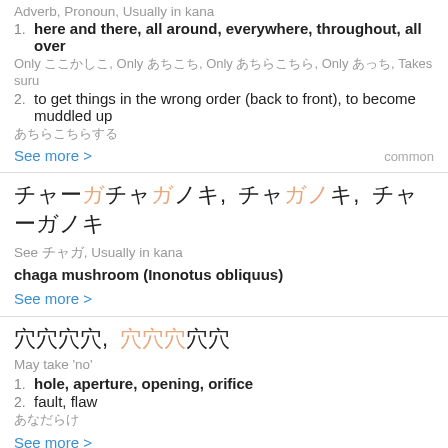Adverb, Pronoun, Usually in kana
1. here and there, all around, everywhere, throughout, all over
Only ここかしこ, Only あちこち, Only あちらこちら, Only あっち, Takes suru
2. to get things in the wrong order (back to front), to become muddled up
あちらこちらする
See more >
チャーガ, チャガノキ, チャーガノキ
See チャガ, Usually in kana
chaga mushroom (Inonotus obliquus)
See more >
穴, 孔穴
May take 'no'
1. hole, aperture, opening, orifice
2. fault, flaw
あなだらけ
See more >
穴あけ, 穴明け